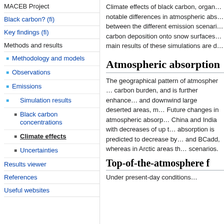MACEB Project
Black carbon? (fi)
Key findings (fi)
Methods and results
Methodology and models
Observations
Emissions
Simulation results
Black carbon concentrations
Climate effects
Uncertainties
Results viewer
References
Useful websites
Climate effects of black carbon, organ... notable differences in atmospheric abs... between the different emission scenari... carbon deposition onto snow surfaces... main results of these simulations are d...
Atmospheric absorption
The geographical pattern of atmospher... carbon burden, and is further enhance... and downwind large deserted areas, m... Future changes in atmospheric absorp... China and India with decreases of up t... absorption is predicted to decrease by... and BCadd, whereas in Arctic areas th... scenarios.
Top-of-the-atmosphere f